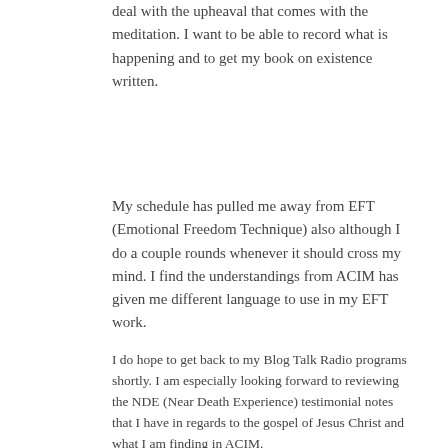deal with the upheaval that comes with the meditation. I want to be able to record what is happening and to get my book on existence written.
My schedule has pulled me away from EFT (Emotional Freedom Technique) also although I do a couple rounds whenever it should cross my mind. I find the understandings from ACIM has given me different language to use in my EFT work.
I do hope to get back to my Blog Talk Radio programs shortly. I am especially looking forward to reviewing the NDE (Near Death Experience) testimonial notes that I have in regards to the gospel of Jesus Christ and what I am finding in ACIM.